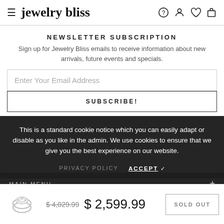jewelry bliss
NEWSLETTER SUBSCRIPTION
Sign up for Jewelry Bliss emails to receive information about new arrivals, future events and specials.
Enter Your Email Address
SUBSCRIBE!
This is a standard cookie notice which you can easily adapt or disable as you like in the admin. We use cookies to ensure that we give you the best experience on our website.
MAIN MENU +
PRIVACY POLICY   ACCEPT ✓
INFORMATION +
$ 4,029.99  $ 2,599.99  SOLD OUT